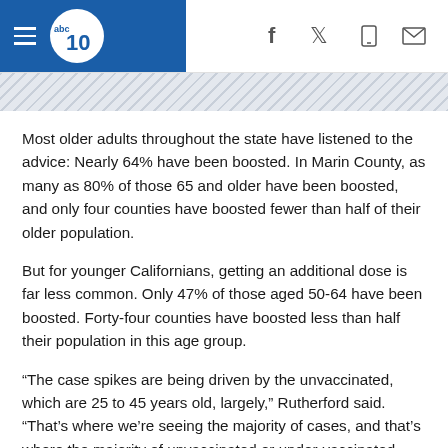abc10 — navigation header with social icons
Most older adults throughout the state have listened to the advice: Nearly 64% have been boosted. In Marin County, as many as 80% of those 65 and older have been boosted, and only four counties have boosted fewer than half of their older population.
But for younger Californians, getting an additional dose is far less common. Only 47% of those aged 50-64 have been boosted. Forty-four counties have boosted less than half their population in this age group.
“The case spikes are being driven by the unvaccinated, which are 25 to 45 years old, largely,” Rutherford said. “That’s where we’re seeing the majority of cases, and that’s where the majority of unvaccinated or under-vaccinated people are.”